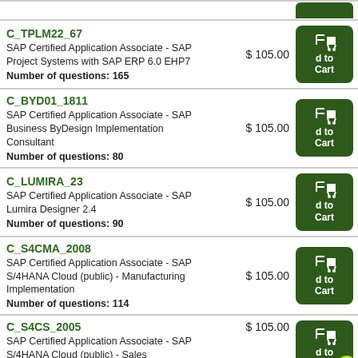C_TPLM22_67 | SAP Certified Application Associate - SAP Project Systems with SAP ERP 6.0 EHP7 | Number of questions: 165 | $105.00
C_BYD01_1811 | SAP Certified Application Associate - SAP Business ByDesign Implementation Consultant | Number of questions: 80 | $105.00
C_LUMIRA_23 | SAP Certified Application Associate - SAP Lumira Designer 2.4 | Number of questions: 90 | $105.00
C_S4CMA_2008 | SAP Certified Application Associate - SAP S/4HANA Cloud (public) - Manufacturing Implementation | Number of questions: 114 | $105.00
C_S4CS_2005 | SAP Certified Application Associate - SAP S/4HANA Cloud (public) - Sales Implementation | $105.00